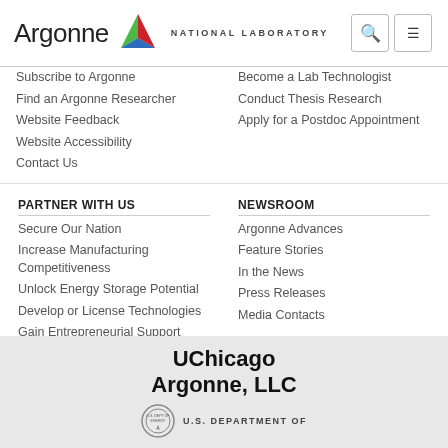Argonne National Laboratory
Subscribe to Argonne
Find an Argonne Researcher
Website Feedback
Website Accessibility
Contact Us
Become a Lab Technologist
Conduct Thesis Research
Apply for a Postdoc Appointment
PARTNER WITH US
Secure Our Nation
Increase Manufacturing Competitiveness
Unlock Energy Storage Potential
Develop or License Technologies
Gain Entrepreneurial Support
NEWSROOM
Argonne Advances
Feature Stories
In the News
Press Releases
Media Contacts
[Figure (logo): UChicago Argonne, LLC logo with U.S. Department of Energy seal]
UChicago Argonne, LLC
U.S. DEPARTMENT OF